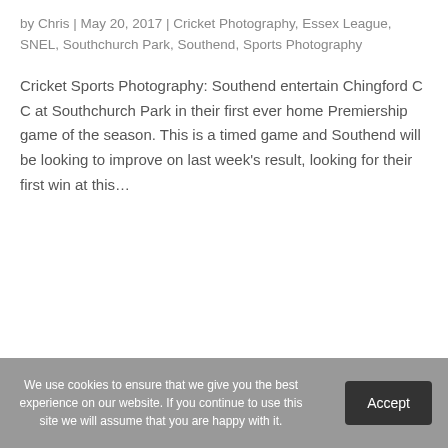by Chris | May 20, 2017 | Cricket Photography, Essex League, SNEL, Southchurch Park, Southend, Sports Photography
Cricket Sports Photography: Southend entertain Chingford C C at Southchurch Park in their first ever home Premiership game of the season. This is a timed game and Southend will be looking to improve on last week's result, looking for their first win at this...
We use cookies to ensure that we give you the best experience on our website. If you continue to use this site we will assume that you are happy with it.